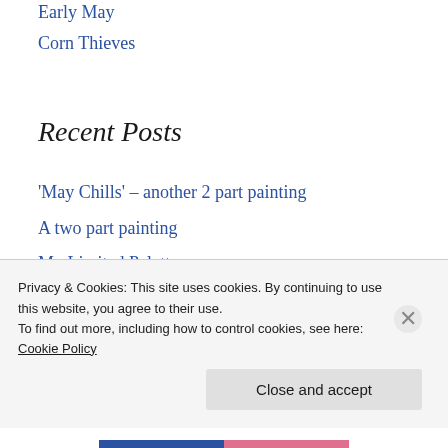Early May
Corn Thieves
Recent Posts
'May Chills' – another 2 part painting
A two part painting
My Limited Palette
Summer Storms
Summer Afternoon
Privacy & Cookies: This site uses cookies. By continuing to use this website, you agree to their use.
To find out more, including how to control cookies, see here: Cookie Policy